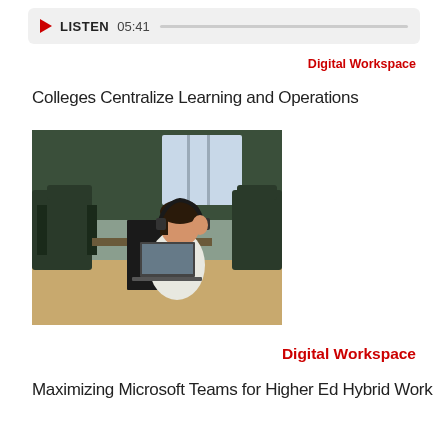LISTEN 05:41
Digital Workspace
Colleges Centralize Learning and Operations
[Figure (photo): A woman wearing headphones sitting at a desk with a laptop in a modern office environment with dark chairs and glass partitions]
Digital Workspace
Maximizing Microsoft Teams for Higher Ed Hybrid Work